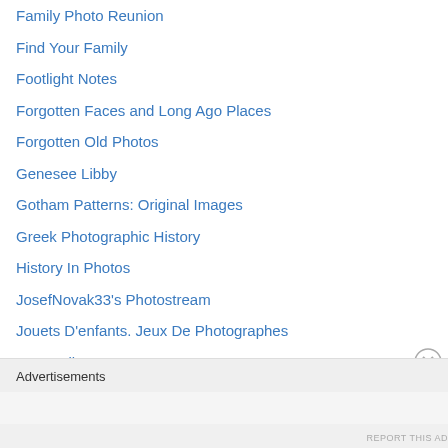Family Photo Reunion
Find Your Family
Footlight Notes
Forgotten Faces and Long Ago Places
Forgotten Old Photos
Genesee Libby
Gotham Patterns: Original Images
Greek Photographic History
History In Photos
JosefNovak33's Photostream
Jouets D'enfants. Jeux De Photographes
Lost Gallery
Lushlight
Old Picture of the Day
One Man's Treasure
Pics of Then
Portraits of Children (French Site)
Advertisements
REPORT THIS AD